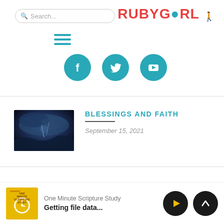[Figure (screenshot): Search bar input at top left]
[Figure (logo): RUBYGIRL logo in red and teal]
[Figure (other): Hamburger menu icon in teal]
[Figure (other): Social media icons: Facebook, Twitter, YouTube circles in teal]
[Figure (photo): Thumbnail image of stormy dark blue sky scene]
BLESSINGS AND FAITH
September 15, 2021
[Figure (other): One Minute Scripture Study podcast thumbnail - yellow square with alarm clock]
One Minute Scripture Study
Getting file data...